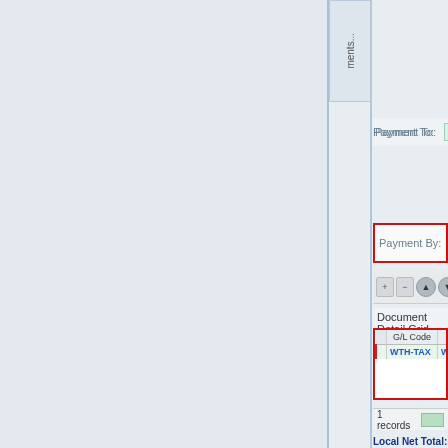[Figure (screenshot): Partial screenshot of a financial application UI showing a comments button (vertical text 'ments...'), Payment To field showing 'WITHHOLDING', Payment By field showing 'MAYBANK' highlighted with red border, a toolbar with +, -, up arrow, down arrow, C, S buttons, Document Detail Grid section with a table showing columns G/L Code and GL with a row 'WTH-TAX' and 'WITHO...' highlighted in red border, a records footer showing '1 records', and a Local Net Total label at the bottom.]